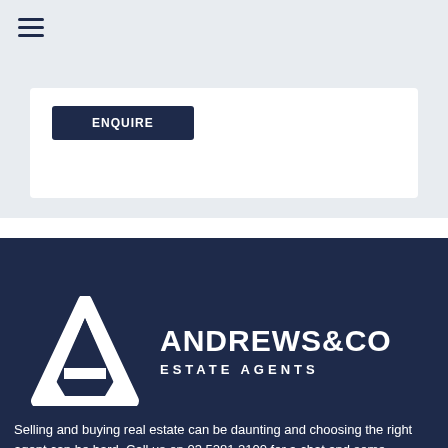[Figure (logo): Hamburger menu icon (three horizontal lines) in dark navy color]
[Figure (other): White card with dark navy Enquire button]
[Figure (logo): Andrews & Co Estate Agents logo on dark navy background — triangle A icon on left, ANDREWS&CO text and ESTATE AGENTS subtitle on right]
Selling and buying real estate can be daunting and choosing the right agent can be hard. Call us on 03 5281 2100 for a chat and some